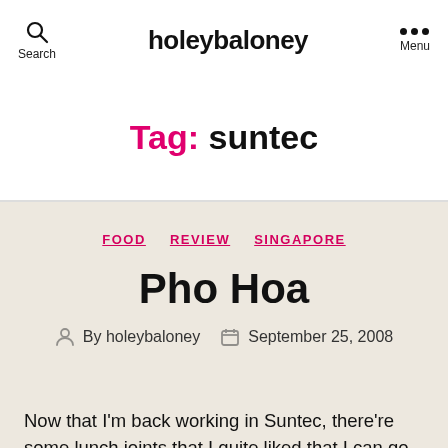holeybaloney — Search | Menu
Tag: suntec
FOOD  REVIEW  SINGAPORE
Pho Hoa
By holeybaloney  September 25, 2008
Now that I'm back working in Suntec, there're some lunch joints that I quite liked that I can go again. One of it is Pho Hoa. It's simple & casual Vietnamese noodle...